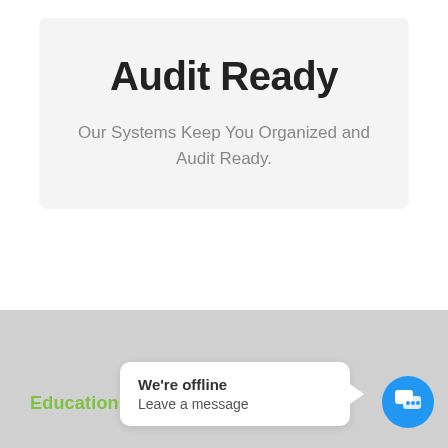Audit Ready
Our Systems Keep You Organized and Audit Ready.
Education
We're offline
Leave a message